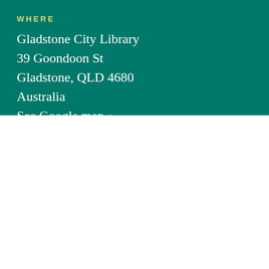WHERE
Gladstone City Library
39 Goondoon St
Gladstone, QLD 4680
Australia
See Google map »